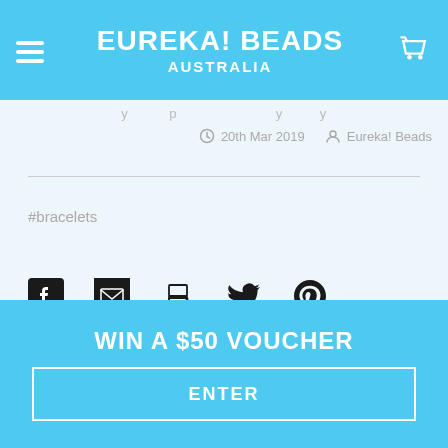EUREKA! BEADS AUSTRALIA
20th Mar 2019  Eureka! Beads
#bracelets
[Figure (infographic): Social share icons: Facebook, email, print, Twitter, Pinterest]
WIN A $50 VOUCHER
ENTER